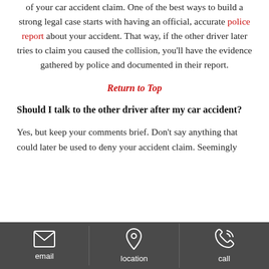of your car accident claim. One of the best ways to build a strong legal case starts with having an official, accurate police report about your accident. That way, if the other driver later tries to claim you caused the collision, you'll have the evidence gathered by police and documented in their report.
Return to Top
Should I talk to the other driver after my car accident?
Yes, but keep your comments brief. Don't say anything that could later be used to deny your accident claim. Seemingly
email | location | call